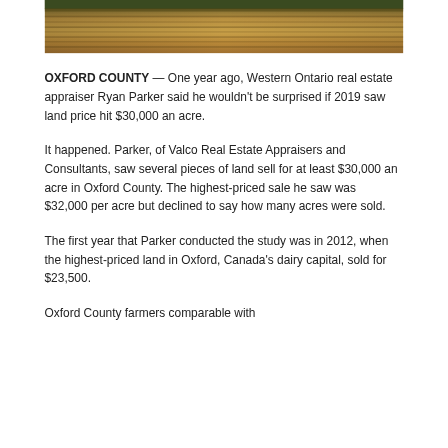[Figure (photo): Aerial or close-up photo of harvested grain field showing rows of golden-brown crop stubble]
OXFORD COUNTY — One year ago, Western Ontario real estate appraiser Ryan Parker said he wouldn't be surprised if 2019 saw land price hit $30,000 an acre.
It happened. Parker, of Valco Real Estate Appraisers and Consultants, saw several pieces of land sell for at least $30,000 an acre in Oxford County. The highest-priced sale he saw was $32,000 per acre but declined to say how many acres were sold.
The first year that Parker conducted the study was in 2012, when the highest-priced land in Oxford, Canada's dairy capital, sold for $23,500.
Oxford County farmers comparable with...